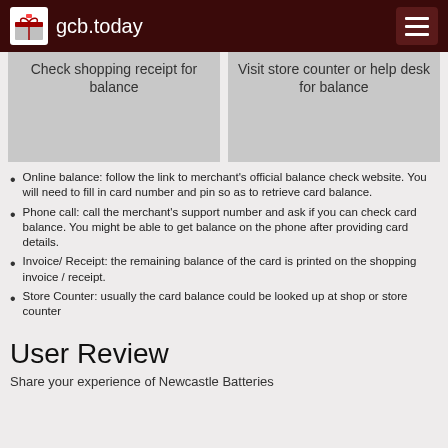gcb.today
[Figure (screenshot): Two grey card boxes partially visible at top: 'Check shopping receipt for balance' and 'Visit store counter or help desk for balance']
Online balance: follow the link to merchant's official balance check website. You will need to fill in card number and pin so as to retrieve card balance.
Phone call: call the merchant's support number and ask if you can check card balance. You might be able to get balance on the phone after providing card details.
Invoice/ Receipt: the remaining balance of the card is printed on the shopping invoice / receipt.
Store Counter: usually the card balance could be looked up at shop or store counter
User Review
Share your experience of Newcastle Batteries